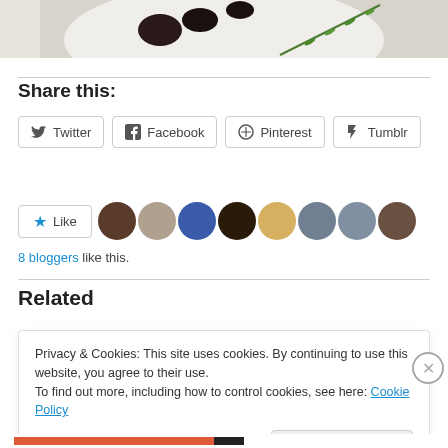[Figure (photo): Top portion of a food photo showing a white plate with dark items and a rosemary sprig]
Share this:
Twitter  Facebook  Pinterest  Tumblr
Like  8 bloggers like this.
Related
Privacy & Cookies: This site uses cookies. By continuing to use this website, you agree to their use. To find out more, including how to control cookies, see here: Cookie Policy
Close and accept